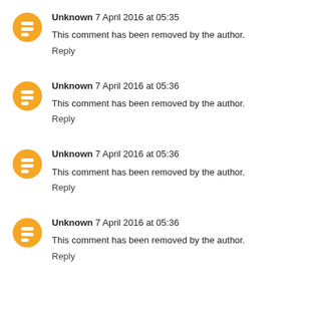Unknown 7 April 2016 at 05:35
This comment has been removed by the author.
Reply
Unknown 7 April 2016 at 05:36
This comment has been removed by the author.
Reply
Unknown 7 April 2016 at 05:36
This comment has been removed by the author.
Reply
Unknown 7 April 2016 at 05:36
This comment has been removed by the author.
Reply